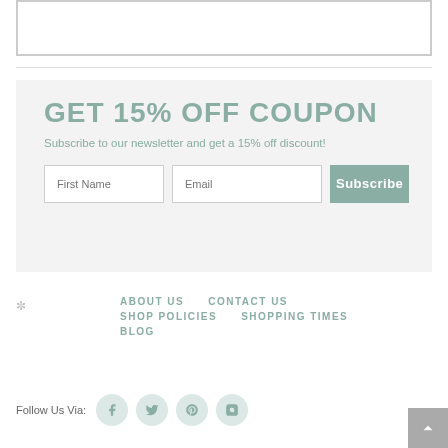[Figure (other): Empty white rectangle with gray border at top of page]
GET 15% OFF COUPON
Subscribe to our newsletter and get a 15% off discount!
First Name  Email  Subscribe
ABOUT US   CONTACT US   SHOP POLICIES   SHOPPING TIMES   BLOG
Follow Us Via: